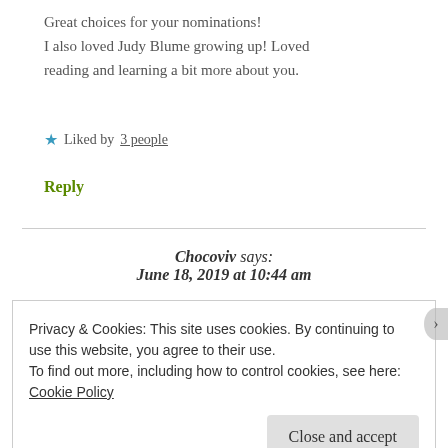Great choices for your nominations! I also loved Judy Blume growing up! Loved reading and learning a bit more about you.
★ Liked by 3 people
Reply
Chocoviv says: June 18, 2019 at 10:44 am
Privacy & Cookies: This site uses cookies. By continuing to use this website, you agree to their use.
To find out more, including how to control cookies, see here: Cookie Policy
Close and accept